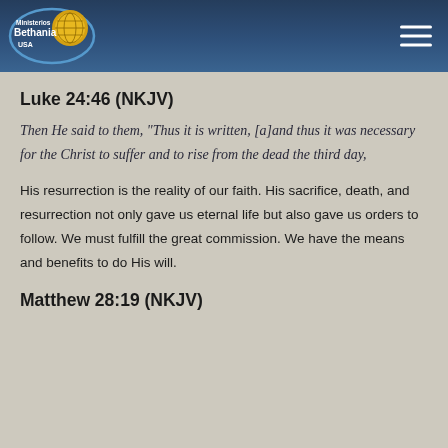[Figure (logo): Ministerios Bethania USA logo — oval blue ellipse with globe and text, gold globe icon]
Ministerios Bethania USA — navigation header with hamburger menu
Luke 24:46 (NKJV)
Then He said to them, “Thus it is written, [a]and thus it was necessary for the Christ to suffer and to rise from the dead the third day,
His resurrection is the reality of our faith. His sacrifice, death, and resurrection not only gave us eternal life but also gave us orders to follow. We must fulfill the great commission. We have the means and benefits to do His will.
Matthew 28:19 (NKJV)